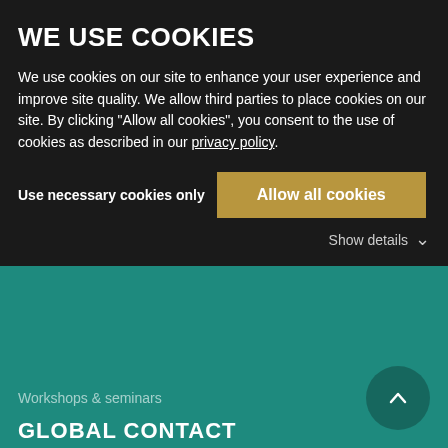WE USE COOKIES
We use cookies on our site to enhance your user experience and improve site quality. We allow third parties to place cookies on our site. By clicking "Allow all cookies", you consent to the use of cookies as described in our privacy policy.
Use necessary cookies only
Allow all cookies
Show details
Workshops & seminars
GLOBAL CONTACT
+49 621 718858-0
+49 621 718858-100
info@knoell.com
RSS
XING
kununu
LinkedIn
Twitter